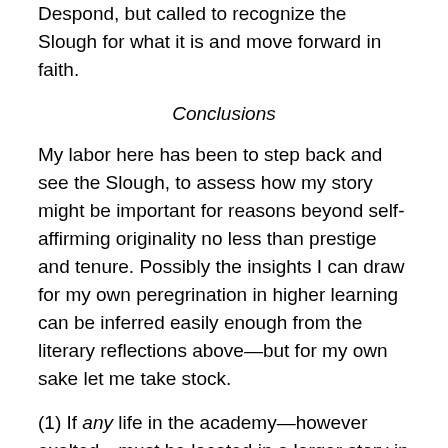Despond, but called to recognize the Slough for what it is and move forward in faith.
Conclusions
My labor here has been to step back and see the Slough, to assess how my story might be important for reasons beyond self-affirming originality no less than prestige and tenure. Possibly the insights I can draw for my own peregrination in higher learning can be inferred easily enough from the literary reflections above—but for my own sake let me take stock.
(1) If any life in the academy—however exalted—must be located in a larger story in order to have purpose, then any life so located—however lowly, wandering and broken—has purpose. In this world there may remain a need to call